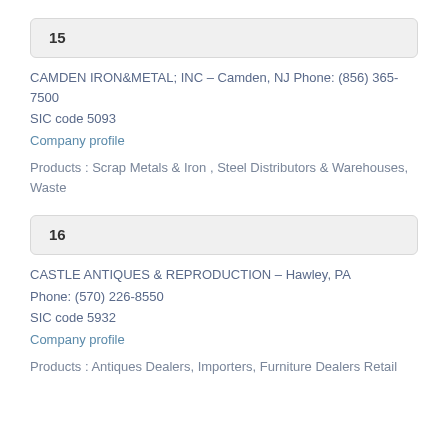15
CAMDEN IRON&METAL; INC – Camden, NJ Phone: (856) 365-7500
SIC code 5093
Company profile
Products : Scrap Metals & Iron , Steel Distributors & Warehouses, Waste
16
CASTLE ANTIQUES & REPRODUCTION – Hawley, PA Phone: (570) 226-8550
SIC code 5932
Company profile
Products : Antiques Dealers, Importers, Furniture Dealers Retail